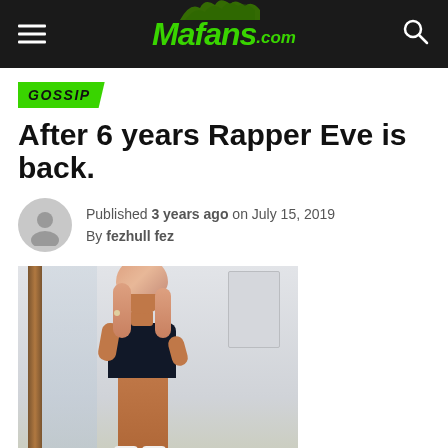Mafans.com
GOSSIP
After 6 years Rapper Eve is back.
Published 3 years ago on July 15, 2019
By fezhull fez
[Figure (photo): Rapper Eve sitting on a stool in front of a mirror, wearing a black outfit with pink/blonde hair, in a white room]